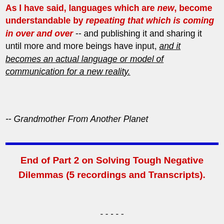As I have said, languages which are new, become understandable by repeating that which is coming in over and over -- and publishing it and sharing it until more and more beings have input, and it becomes an actual language or model of communication for a new reality.
-- Grandmother From Another Planet
End of Part 2 on Solving Tough Negative Dilemmas (5 recordings and Transcripts).
-----